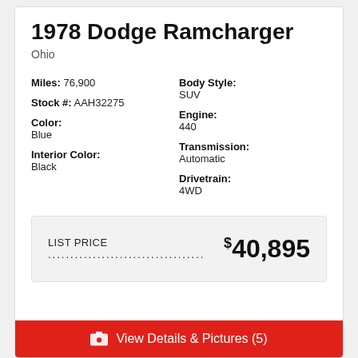1978 Dodge Ramcharger
Ohio
| Miles: | 76,900 | Body Style: | SUV |
| Stock #: | AAH32275 | Engine: | 440 |
| Color: | Blue | Transmission: | Automatic |
| Interior Color: | Black | Drivetrain: | 4WD |
LIST PRICE ......................................... $40,895
View Details & Pictures (5)